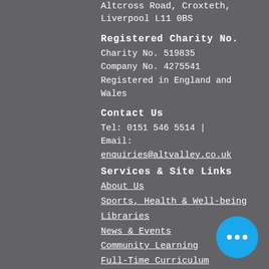Altcross Road, Croxteth, Liverpool L11 0BS
Registered Charity No.
Charity No. 519835
Company No. 4275541
Registered in England and Wales
Contact Us
Tel: 0151 546 5514 |
Email: enquiries@altvalley.co.uk
Services & Site Links
About Us
Sports, Health & Well-being
Libraries
News & Events
Community Learning
Full-Time Curriculum Pathways
Blog
Contact
Legal Information & Links
Terms of U...